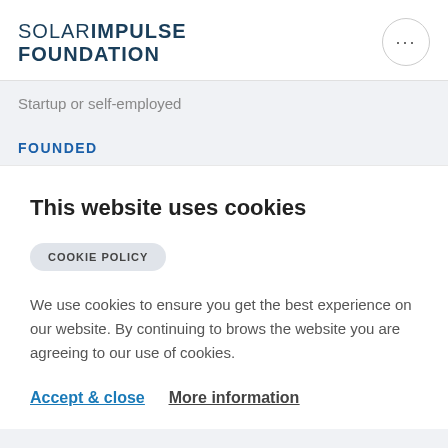SOLAR IMPULSE FOUNDATION
Startup or self-employed
FOUNDED
This website uses cookies
COOKIE POLICY
We use cookies to ensure you get the best experience on our website. By continuing to brows the website you are agreeing to our use of cookies.
Accept & close   More information